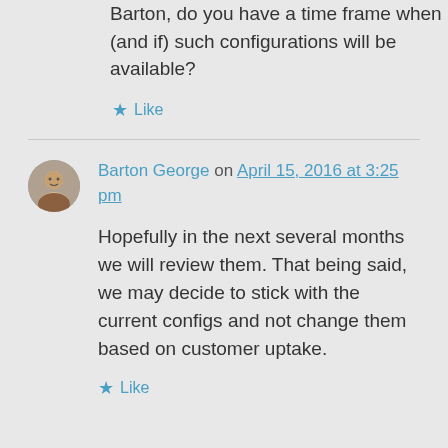Barton, do you have a time frame when (and if) such configurations will be available?
Like
Barton George on April 15, 2016 at 3:25 pm
Hopefully in the next several months we will review them. That being said, we may decide to stick with the current configs and not change them based on customer uptake.
Like